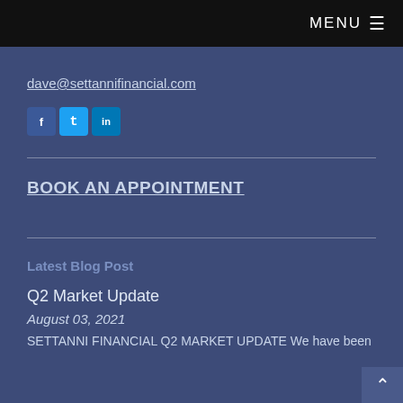MENU ≡
dave@settannifinancial.com
[Figure (other): Social media icons: Facebook, Twitter, LinkedIn]
BOOK AN APPOINTMENT
Latest Blog Post
Q2 Market Update
August 03, 2021
SETTANNI FINANCIAL Q2 MARKET UPDATE We have been